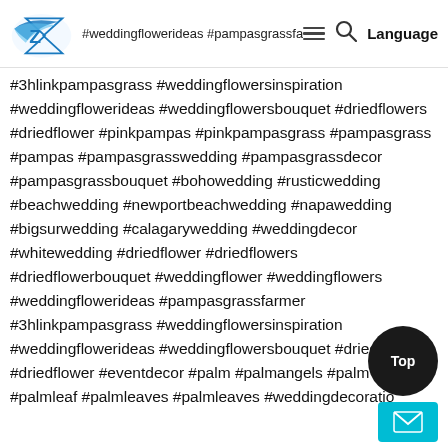#driedflowerbouquet #weddingflower #weddingflowers
[Figure (logo): Blue lightning bolt / Z logo with wing shape]
#weddingflowerideas #pampasgrassfarmer #3hlinkpampasgrass #weddingflowersinspiration #weddingflowerideas #weddingflowersbouquet #driedflowers #driedflower #pinkpampas #pinkpampasgrass #pampasgrass #pampas #pampasgrasswedding #pampasgrassdecor #pampasgrassbouquet #bohowedding #rusticwedding #beachwedding #newportbeachwedding #napawedding #bigsurwedding #calagarywedding #weddingdecor #whitewedding #driedflower #driedflowers #driedflowerbouquet #weddingflower #weddingflowers #weddingflowerideas #pampasgrassfarmer #3hlinkpampasgrass #weddingflowersinspiration #weddingflowerideas #weddingflowersbouquet #driedflowers #driedflower #eventdecor #palm #palmangels #palm #palmleaf #palmleaves #palmleaves #weddingdecoration